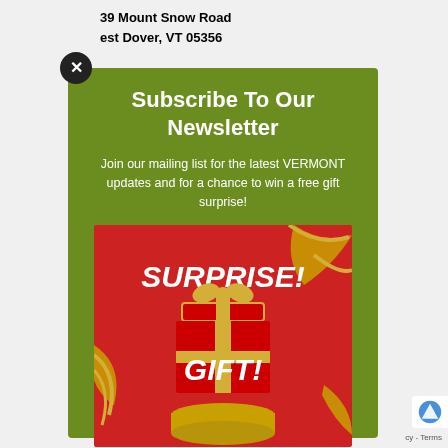39 Mount Snow Road
est Dover, VT 05356
[Figure (illustration): Close (X) button circle in dark color]
Subscribe To Our Newsletter
Join our mailing list for the latest VERMONT updates and for a chance to win a free gift surprise!
[Figure (illustration): Red background promotional image with golden gift box with lid open and text reading SURPRISE! GIFT! with golden ribbons scattered around]
cy - Terms